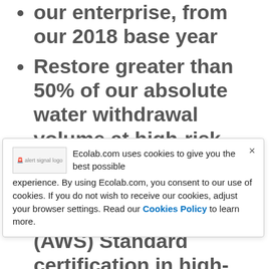our enterprise, from our 2018 base year
Restore greater than 50% of our absolute water withdrawal volume at high-risk sites
Achieve Alliance for Water Stewardship (AWS) Standard certification in high-risk
Ecolab.com uses cookies to give you the best possible experience. By using Ecolab.com, you consent to our use of cookies. If you do not wish to receive our cookies, adjust your browser settings. Read our Cookies Policy to learn more.